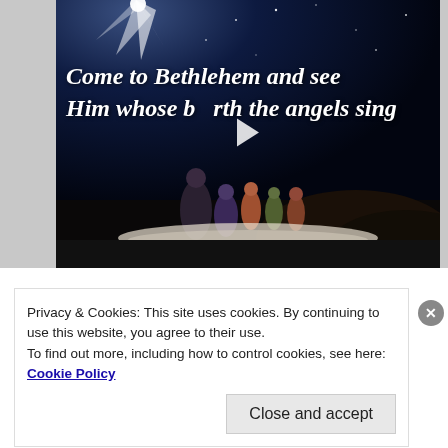[Figure (screenshot): Video player thumbnail showing animated nativity scene with star-filled night sky and figures walking. Text overlay reads 'Come to Bethlehem and see Him whose birth the angels sing' in white italic serif font. A play button is visible in the center.]
Privacy & Cookies: This site uses cookies. By continuing to use this website, you agree to their use.
To find out more, including how to control cookies, see here: Cookie Policy